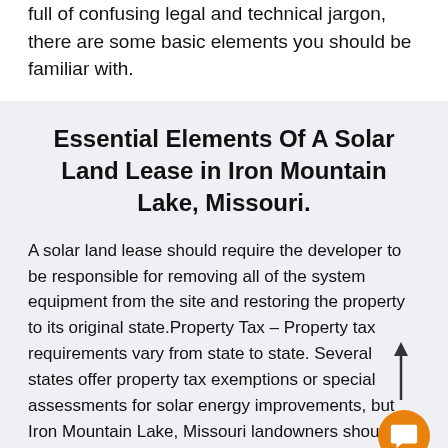full of confusing legal and technical jargon, there are some basic elements you should be familiar with.
Essential Elements Of A Solar Land Lease in Iron Mountain Lake, Missouri.
A solar land lease should require the developer to be responsible for removing all of the system equipment from the site and restoring the property to its original state.Property Tax – Property tax requirements vary from state to state. Several states offer property tax exemptions or special assessments for solar energy improvements, but Iron Mountain Lake, Missouri landowners should seek advice about tax implications to avoid being surprised by